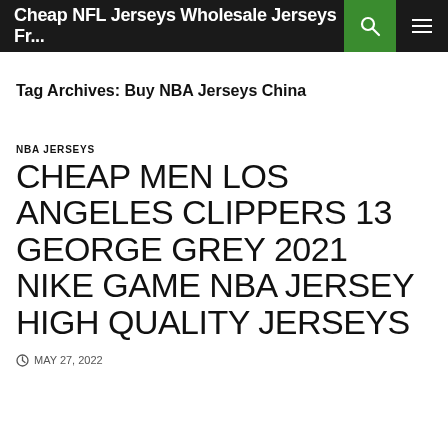Cheap NFL Jerseys Wholesale Jerseys Fr...
Tag Archives: Buy NBA Jerseys China
NBA JERSEYS
CHEAP MEN LOS ANGELES CLIPPERS 13 GEORGE GREY 2021 NIKE GAME NBA JERSEY HIGH QUALITY JERSEYS
MAY 27, 2022